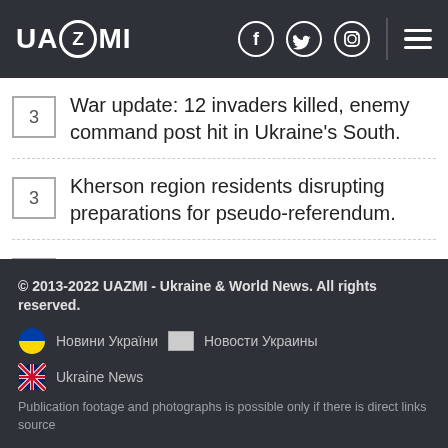UAZMI
War update: 12 invaders killed, enemy command post hit in Ukraine's South.
Kherson region residents disrupting preparations for pseudo-referendum.
Monkeypox: Bavarian Nordic vows to up vaccine supply to combat shortfall.
© 2013-2022 UAZMI - Ukraine & World News. All rights reserved. Новини України Новости Украины Ukraine News Publication footage and photographs is possible only if there is direct links source